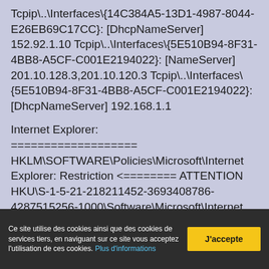Tcpip\..\.Interfaces\{14C384A5-13D1-4987-8044-E26EB69C17CC}: [DhcpNameServer] 152.92.1.10
Tcpip\..\.Interfaces\{5E510B94-8F31-4BB8-A5CF-C001E2194022}: [NameServer] 201.10.128.3,201.10.120.3
Tcpip\..\.Interfaces\{5E510B94-8F31-4BB8-A5CF-C001E2194022}: [DhcpNameServer] 192.168.1.1
Internet Explorer:
===================
HKLM\SOFTWARE\Policies\Microsoft\Internet Explorer: Restriction <======== ATTENTION
HKU\S-1-5-21-218211452-3693408786-4287515256-1000\Software\Microsoft\Internet Explorer\Main,Start Page Redirect Cache = hxxp://www.msn.com/pt-br/?ocid=iehp
SearchScopes: HKLM -> DefaultScope {0633EE93-D776-472f-A0FF-E1416B8B2E3A} URL =
SearchScopes: HKLM -> {0633EE93-D776-472f-A0FF-E1416B8B2E3A} URL =
SearchScopes: HKLM-x32 -> DefaultScope {0633EE93-D776-
Ce site utilise des cookies ainsi que des cookies de services tiers, en naviguant sur ce site vous acceptez l'utilisation de ces cookies. Plus d'informations